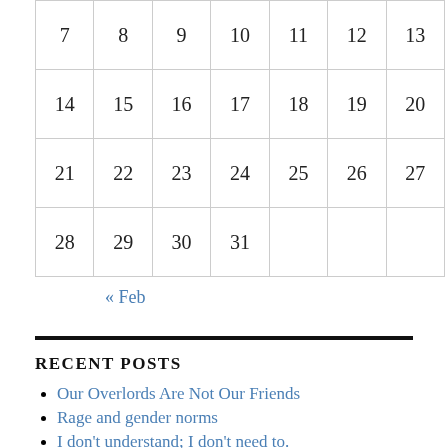| 7 | 8 | 9 | 10 | 11 | 12 | 13 |
| 14 | 15 | 16 | 17 | 18 | 19 | 20 |
| 21 | 22 | 23 | 24 | 25 | 26 | 27 |
| 28 | 29 | 30 | 31 |  |  |  |
« Feb
RECENT POSTS
Our Overlords Are Not Our Friends
Rage and gender norms
I don't understand; I don't need to.
Risk Transference